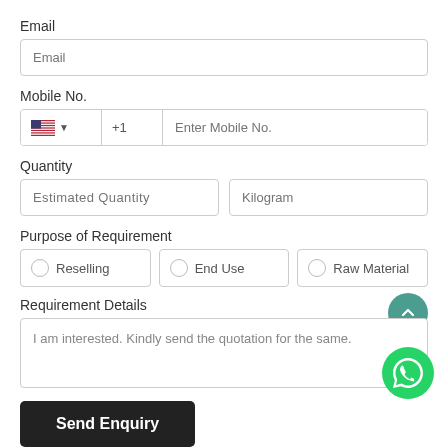Email
Email (input placeholder)
Mobile No.
+1  Enter Mobile No. (input placeholder)
Quantity
Estimated Quantity  Kilogram (input placeholders)
Purpose of Requirement
Reselling  End Use  Raw Material (radio options)
Requirement Details
I am interested. Kindly send the quotation for the same.
Send Enquiry